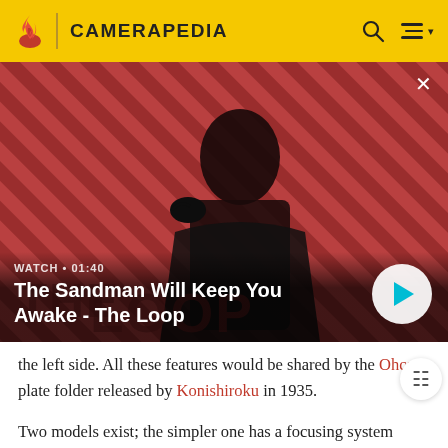CAMERAPEDIA
[Figure (screenshot): Video thumbnail showing a person in dark clothing with a raven on their shoulder against a red and black diagonal striped background. Text overlaid: 'WATCH • 01:40' and 'The Sandman Will Keep You Awake - The Loop' with a play button.]
the left side. All these features would be shared by the Ohca plate folder released by Konishiroku in 1935.
Two models exist; the simpler one has a focusing system similar to the 1930 model, with a focusing index and